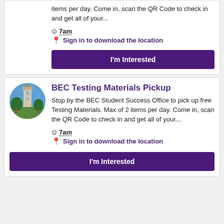items per day. Come in, scan the QR Code to check in and get all of your...
7am
Sign in to download the location
I'm Interested
BEC Testing Materials Pickup
Stop by the BEC Student Success Office to pick up free Testing Materials. Max of 2 items per day. Come in, scan the QR Code to check in and get all of your...
7am
Sign in to download the location
I'm Interested